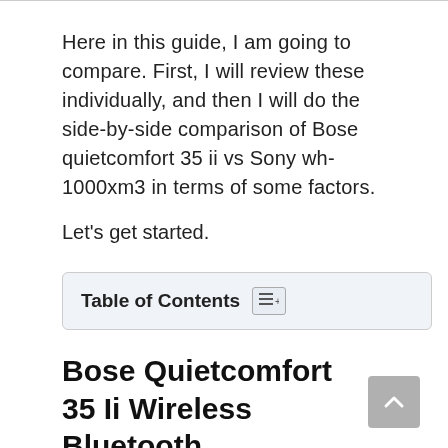Here in this guide, I am going to compare. First, I will review these individually, and then I will do the side-by-side comparison of Bose quietcomfort 35 ii vs Sony wh-1000xm3 in terms of some factors.
Let's get started.
Table of Contents
Bose Quietcomfort 35 Ii Wireless Bluetooth Headphones Review